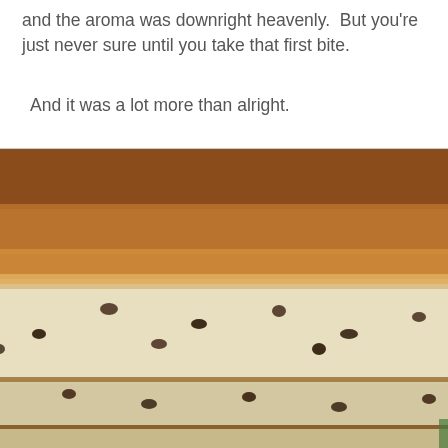and the aroma was downright heavenly.  But you're just never sure until you take that first bite.
And it was a lot more than alright.
[Figure (photo): Close-up photograph of sliced banana bread or fruit loaf showing golden-brown crust on top and pale interior dotted with raisins or dried fruit, with multiple slices visible stacked on a surface]